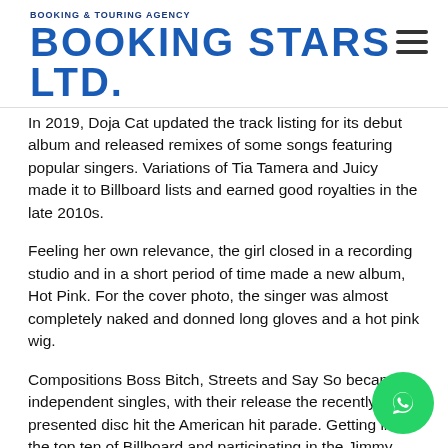BOOKING & TOURING AGENCY BOOKING STARS Ltd.
In 2019, Doja Cat updated the track listing for its debut album and released remixes of some songs featuring popular singers. Variations of Tia Tamera and Juicy made it to Billboard lists and earned good royalties in the late 2010s.
Feeling her own relevance, the girl closed in a recording studio and in a short period of time made a new album, Hot Pink. For the cover photo, the singer was almost completely naked and donned long gloves and a hot pink wig.
Compositions Boss Bitch, Streets and Say So became independent singles, with their release the recently presented disc hit the American hit parade. Getting into the top ten of Billboard and participating in the Jimmy Fallon show became the highest of the awards for the young performer.
In an interview about the new disc, Doja Cat admitted she always tried to paint her own music with the colors she